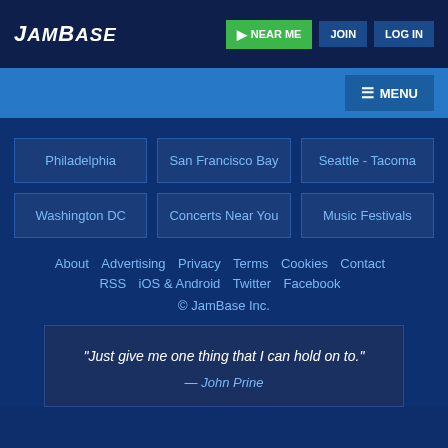JamBase — NEAR ME | JOIN | LOG IN
MENU
Philadelphia
San Francisco Bay
Seattle - Tacoma
Washington DC
Concerts Near You
Music Festivals
About  Advertising  Privacy  Terms  Cookies  Contact
RSS  iOS & Android  Twitter  Facebook
© JamBase Inc.
“Just give me one thing that I can hold on to.”
— John Prine